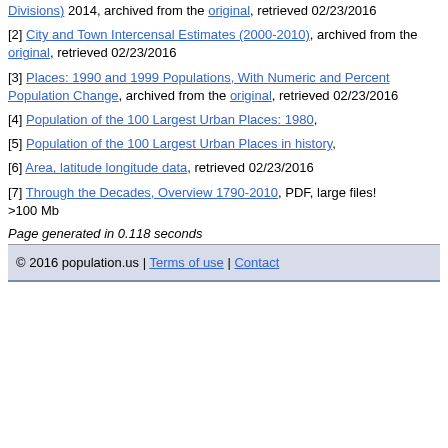Divisions) 2014, archived from the original, retrieved 02/23/2016
[2] City and Town Intercensal Estimates (2000-2010), archived from the original, retrieved 02/23/2016
[3] Places: 1990 and 1999 Populations, With Numeric and Percent Population Change, archived from the original, retrieved 02/23/2016
[4] Population of the 100 Largest Urban Places: 1980,
[5] Population of the 100 Largest Urban Places in history,
[6] Area, latitude longitude data, retrieved 02/23/2016
[7] Through the Decades, Overview 1790-2010, PDF, large files! >100 Mb
Page generated in 0.118 seconds
© 2016 population.us | Terms of use | Contact